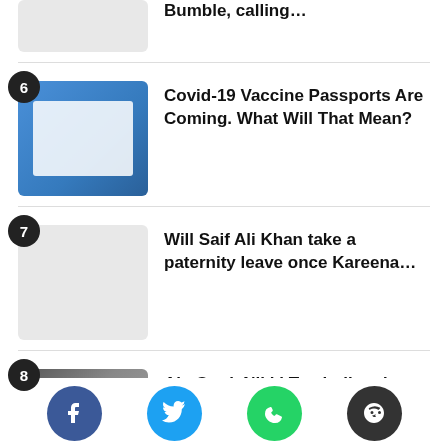Bumble, calling...
Covid-19 Vaccine Passports Are Coming. What Will That Mean?
Will Saif Ali Khan take a paternity leave once Kareena...
Aly Goni, Nikki Tamboli and Rahul Vaidya to re-enter Bigg...